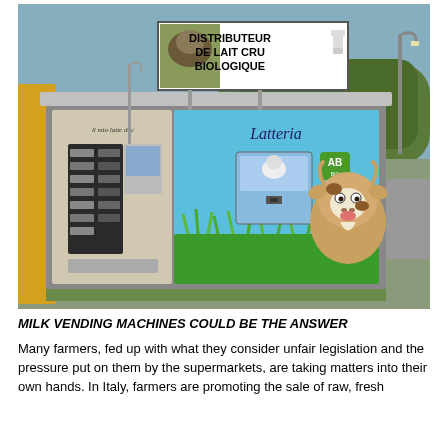[Figure (photo): A milk vending machine (distributeur de lait cru biologique) decorated with cartoon cow graphics and 'Il mio latte doc' and 'Latteria' text, photographed outdoors in a parking area with trees and road in the background. A sign above reads 'DISTRIBUTEUR DE LAIT CRU BIOLOGIQUE'.]
MILK VENDING MACHINES COULD BE THE ANSWER
Many farmers, fed up with what they consider unfair legislation and the pressure put on them by the supermarkets, are taking matters into their own hands. In Italy, farmers are promoting the sale of raw, fresh